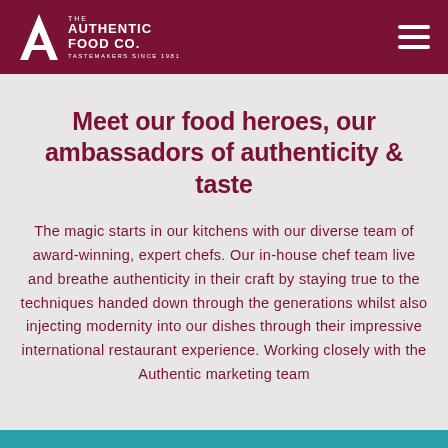The Authentic Food Co. Tastemakers Since 1981
Meet our food heroes, our ambassadors of authenticity & taste
The magic starts in our kitchens with our diverse team of award-winning, expert chefs. Our in-house chef team live and breathe authenticity in their craft by staying true to the techniques handed down through the generations whilst also injecting modernity into our dishes through their impressive international restaurant experience. Working closely with the Authentic marketing team